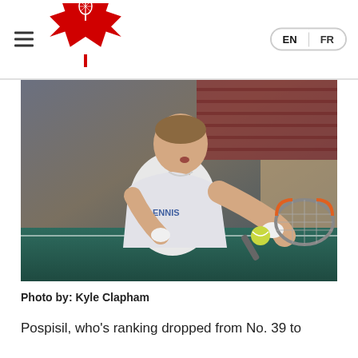Tennis Canada — EN / FR
[Figure (photo): Tennis player Vasek Pospisil hitting a backhand shot on an indoor court, wearing a white ASICS shirt with ENNIS branding, holding a Wilson racket with a yellow ball in play. Crowd seating visible in background.]
Photo by: Kyle Clapham
Pospisil, who's ranking dropped from No. 39 to